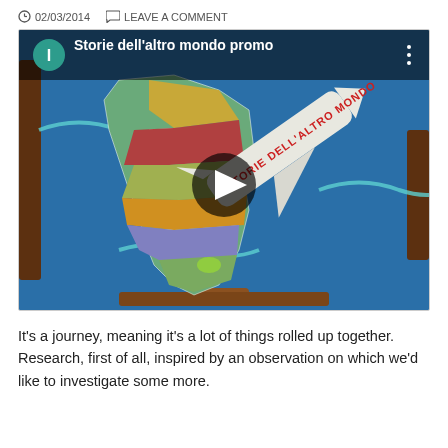02/03/2014   LEAVE A COMMENT
[Figure (screenshot): Video thumbnail showing a colorful illustrated map of South America on a blue background with the title 'Storie dell'altro mondo promo'. A play button is visible in the center. The video player shows a channel icon with letter I and three-dot menu.]
It's a journey, meaning it's a lot of things rolled up together. Research, first of all, inspired by an observation on which we'd like to investigate some more.